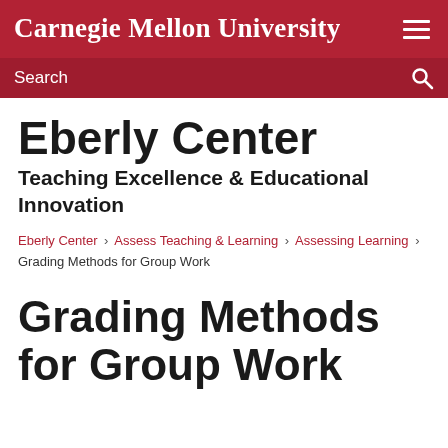Carnegie Mellon University
Search
Eberly Center
Teaching Excellence & Educational Innovation
Eberly Center › Assess Teaching & Learning › Assessing Learning › Grading Methods for Group Work
Grading Methods for Group Work